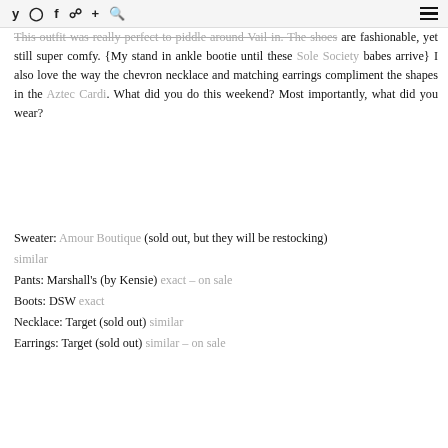Social media icons and hamburger menu
This outfit was really perfect to piddle around Vail in. The shoes are fashionable, yet still super comfy. {My stand in ankle bootie until these Sole Society babes arrive} I also love the way the chevron necklace and matching earrings compliment the shapes in the Aztec Cardi. What did you do this weekend? Most importantly, what did you wear?
Sweater: Amour Boutique (sold out, but they will be restocking) similar
Pants: Marshall's (by Kensie) exact – on sale
Boots: DSW exact
Necklace: Target (sold out) similar
Earrings: Target (sold out) similar – on sale